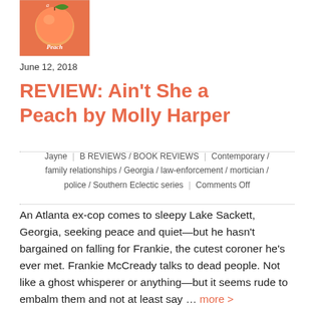[Figure (illustration): Book cover for 'Ain't She a Peach' — orange/peach colored cover with a peach fruit image and cursive/script text]
June 12, 2018
REVIEW: Ain't She a Peach by Molly Harper
Jayne | B REVIEWS / BOOK REVIEWS | Contemporary / family relationships / Georgia / law-enforcement / mortician / police / Southern Eclectic series | Comments Off
An Atlanta ex-cop comes to sleepy Lake Sackett, Georgia, seeking peace and quiet—but he hasn't bargained on falling for Frankie, the cutest coroner he's ever met. Frankie McCready talks to dead people. Not like a ghost whisperer or anything—but it seems rude to embalm them and not at least say … more >